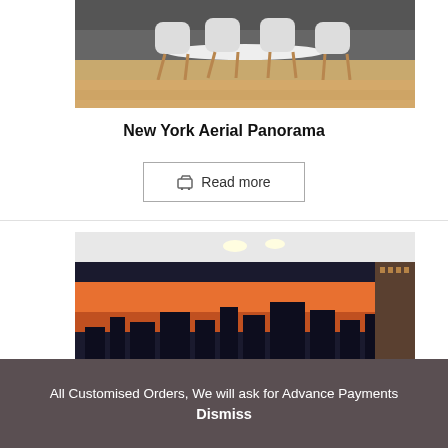[Figure (photo): Room interior with white modern chairs around a table, wooden floor, with a cityscape mural in the background]
New York Aerial Panorama
🛒 Read more
[Figure (photo): Office interior with a panoramic city skyline mural at sunset on the wall, ceiling lights visible]
All Customised Orders, We will ask for Advance Payments
Dismiss